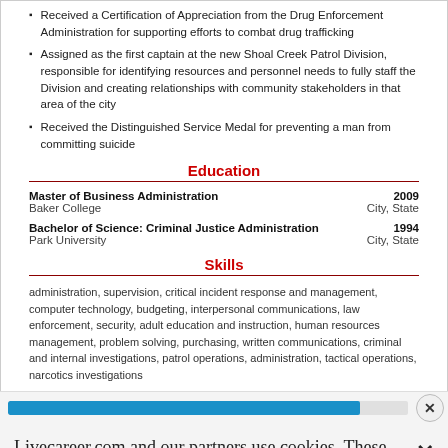Received a Certification of Appreciation from the Drug Enforcement Administration for supporting efforts to combat drug trafficking
Assigned as the first captain at the new Shoal Creek Patrol Division, responsible for identifying resources and personnel needs to fully staff the Division and creating relationships with community stakeholders in that area of the city
Received the Distinguished Service Medal for preventing a man from committing suicide
Education
| Degree | Year | School | Location |
| --- | --- | --- | --- |
| Master of Business Administration | 2009 | Baker College | City, State |
| Bachelor of Science: Criminal Justice Administration | 1994 | Park University | City, State |
Skills
administration, supervision, critical incident response and management, computer technology, budgeting, interpersonal communications, law enforcement, security, adult education and instruction, human resources management, problem solving, purchasing, written communications, criminal and internal investigations, patrol operations, administration, tactical operations, narcotics investigations
Livecareer.com and our partners use cookies. These cookies only collect personal data when you opt in to build a resume and cover letter. Learn more